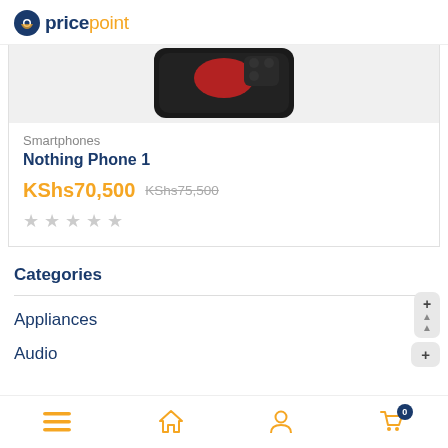pricepoint
[Figure (photo): Partial view of Nothing Phone 1 smartphone showing back panel with red element]
Smartphones
Nothing Phone 1
KShs70,500  KShs75,500
★ ★ ★ ★ ★ (empty stars)
Categories
Appliances
Audio